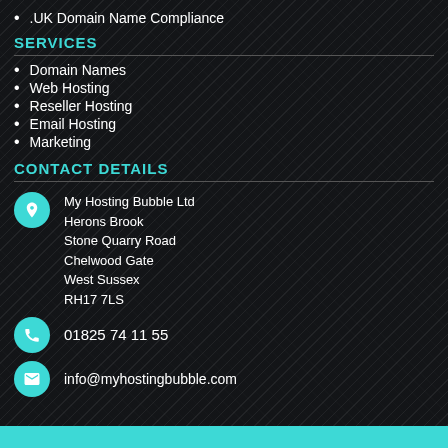.UK Domain Name Compliance
SERVICES
Domain Names
Web Hosting
Reseller Hosting
Email Hosting
Marketing
CONTACT DETAILS
My Hosting Bubble Ltd
Herons Brook
Stone Quarry Road
Chelwood Gate
West Sussex
RH17 7LS
01825 74 11 55
info@myhostingbubble.com